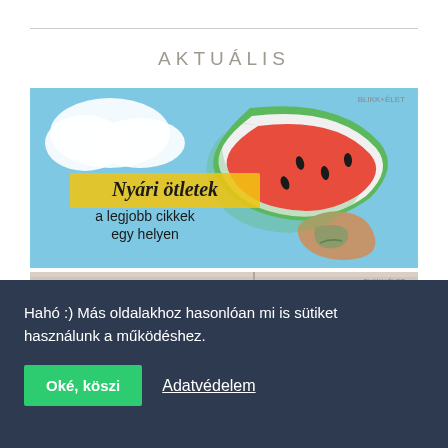AKTUÁLIS
[Figure (photo): Photo of a hand holding a watermelon slice against a blue sky background, with text overlay 'Nyári ötletek a legjobb cikkek egy helyen']
[Figure (photo): Partial photo of interior scene, partially visible]
Hahó :) Más oldalakhoz hasonlóan mi is sütiket használunk a működéshez.
Oké, köszi
Adatvédelem